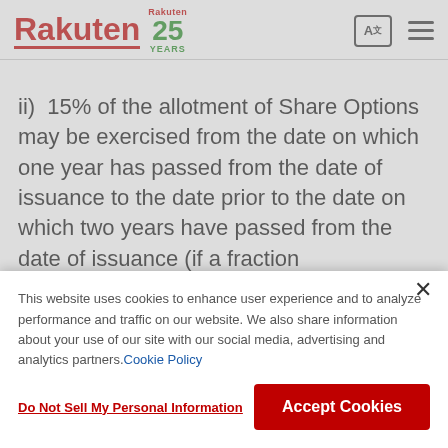Rakuten 25 YEARS
ii)  15% of the allotment of Share Options may be exercised from the date on which one year has passed from the date of issuance to the date prior to the date on which two years have passed from the date of issuance (if a fraction
This website uses cookies to enhance user experience and to analyze performance and traffic on our website. We also share information about your use of our site with our social media, advertising and analytics partners. Cookie Policy
Do Not Sell My Personal Information
Accept Cookies